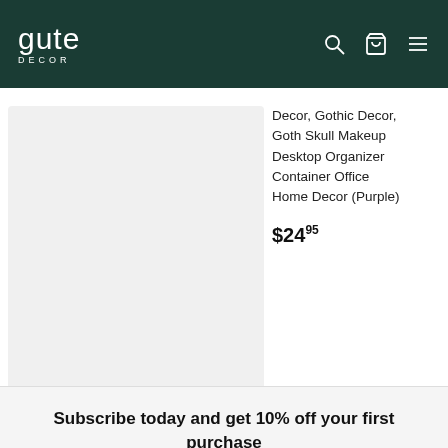gute DECOR — navigation header with search, cart, and menu icons
Decor, Gothic Decor, Goth Skull Makeup Desktop Organizer Container Office Home Decor (Purple)
$24.95
Decor, Gothic Decor, Goth Skull Makeup Desktop Organizer Container Office Home Decor
$24.9
Subscribe today and get 10% off your first purchase
Enter your email